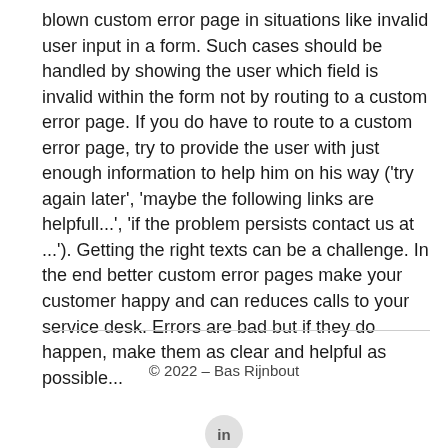blown custom error page in situations like invalid user input in a form. Such cases should be handled by showing the user which field is invalid within the form not by routing to a custom error page. If you do have to route to a custom error page, try to provide the user with just enough information to help him on his way ('try again later', 'maybe the following links are helpfull...', 'if the problem persists contact us at ...'). Getting the right texts can be a challenge. In the end better custom error pages make your customer happy and can reduces calls to your service desk. Errors are bad but if they do happen, make them as clear and helpful as possible...
© 2022 – Bas Rijnbout
[Figure (logo): LinkedIn icon button, circular grey background with 'in' logo]